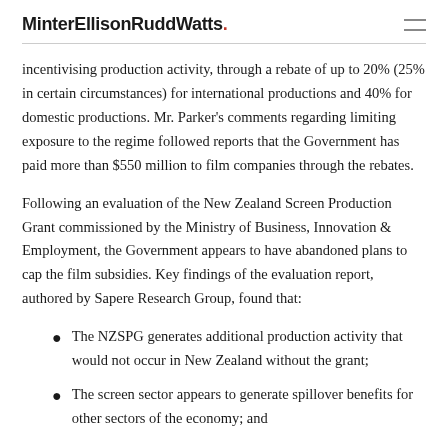MinterEllisonRuddWatts.
incentivising production activity, through a rebate of up to 20% (25% in certain circumstances) for international productions and 40% for domestic productions. Mr. Parker's comments regarding limiting exposure to the regime followed reports that the Government has paid more than $550 million to film companies through the rebates.
Following an evaluation of the New Zealand Screen Production Grant commissioned by the Ministry of Business, Innovation & Employment, the Government appears to have abandoned plans to cap the film subsidies. Key findings of the evaluation report, authored by Sapere Research Group, found that:
The NZSPG generates additional production activity that would not occur in New Zealand without the grant;
The screen sector appears to generate spillover benefits for other sectors of the economy; and